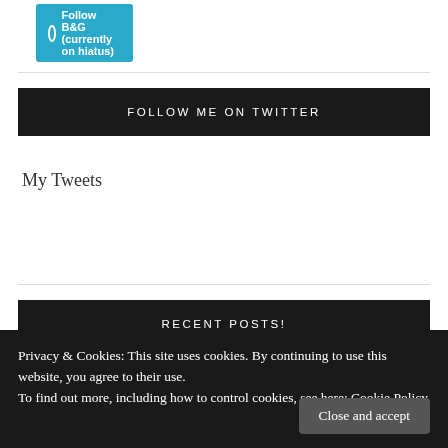[Figure (other): Follow B&G (currently on hiatus) button in teal/cyan color with WordPress icon]
FOLLOW ME ON TWITTER
My Tweets
RECENT POSTS!
> [WEEKLY READINGS] Books I Read on the Third Week of August
Privacy & Cookies: This site uses cookies. By continuing to use this website, you agree to their use.
To find out more, including how to control cookies, see here: Cookie Policy
Close and accept